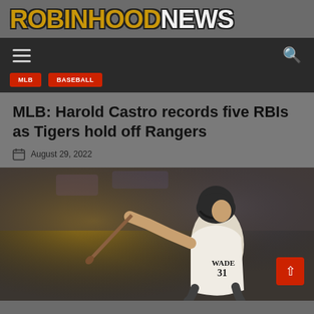ROBINHOOD NEWS
MLB: Harold Castro records five RBIs as Tigers hold off Rangers
August 29, 2022
[Figure (photo): Baseball player in white jersey number 31 with name WADE swinging a bat, action photo with blurred crowd background]